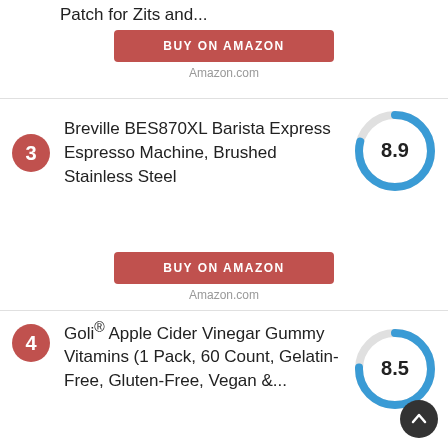Patch for Zits and...
BUY ON AMAZON
Amazon.com
3. Breville BES870XL Barista Express Espresso Machine, Brushed Stainless Steel
[Figure (donut-chart): Score 8.9]
BUY ON AMAZON
Amazon.com
4. Goli® Apple Cider Vinegar Gummy Vitamins (1 Pack, 60 Count, Gelatin-Free, Gluten-Free, Vegan &...
[Figure (donut-chart): Score 8.5]